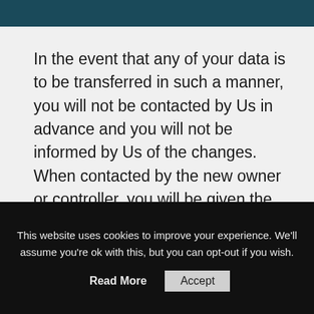In the event that any of your data is to be transferred in such a manner, you will not be contacted by Us in advance and you will not be informed by Us of the changes. When contacted by the new owner or controller, you will be given the choice by the new owner or controller
This website uses cookies to improve your experience. We'll assume you're ok with this, but you can opt-out if you wish.
Read More   Accept